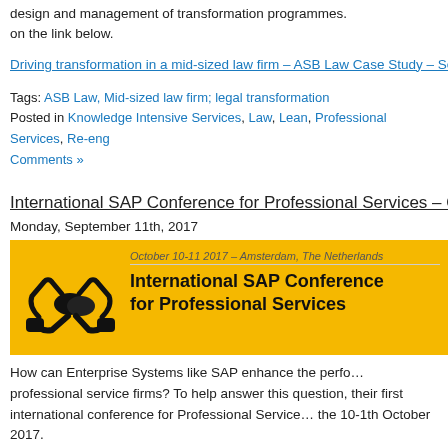design and management of transformation programmes. on the link below.
Driving transformation in a mid-sized law firm – ASB Law Case Study – Sep…
Tags: ASB Law, Mid-sized law firm; legal transformation
Posted in Knowledge Intensive Services, Law, Lean, Professional Services, Re-eng… Comments »
International SAP Conference for Professional Services – Oc…
Monday, September 11th, 2017
[Figure (illustration): Banner for International SAP Conference for Professional Services, October 10-11 2017, Amsterdam, The Netherlands. Yellow/gold background with handshake logo and bold black title text.]
How can Enterprise Systems like SAP enhance the perfo… professional service firms? To help answer this question, their first international conference for Professional Service… the 10-1th October 2017.
Alastair Ross, Director of Codexx, will be presenting on th… special forum on 'Driving Successful Innovation in Profes… His presentation will address ill…